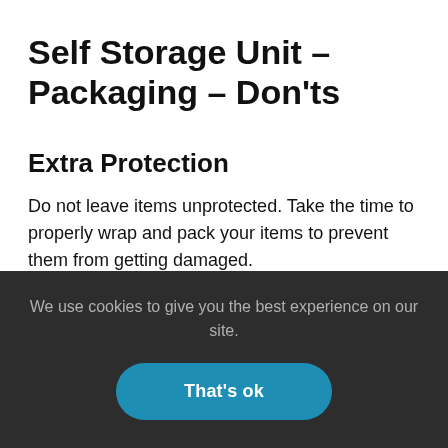Self Storage Unit – Packaging – Don'ts
Extra Protection
Do not leave items unprotected. Take the time to properly wrap and pack your items to prevent them from getting damaged.
We use cookies to give you the best experience on our site.
That's ok